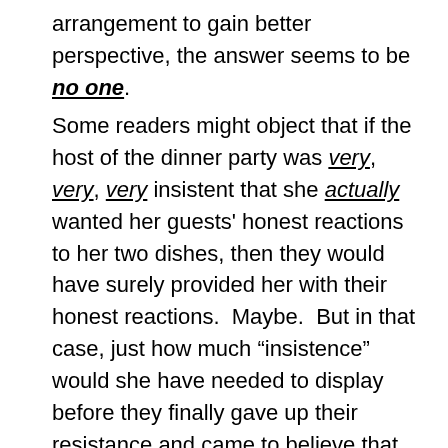arrangement to gain better perspective, the answer seems to be no one.
Some readers might object that if the host of the dinner party was very, very, very insistent that she actually wanted her guests' honest reactions to her two dishes, then they would have surely provided her with their honest reactions.  Maybe.  But in that case, just how much “insistence” would she have needed to display before they finally gave up their resistance and came to believe that she was actually serious when she said she wanted their honest reactions?  Would she have had to get down on her knees and beg?  Or scream at them?  Or break down in tears?  And more importantly, how could she ever know with any certainty that she had indeed crossed that